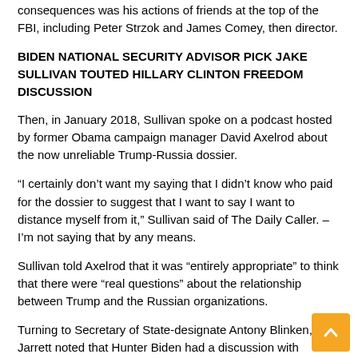consequences was his actions of friends at the top of the FBI, including Peter Strzok and James Comey, then director.
BIDEN NATIONAL SECURITY ADVISOR PICK JAKE SULLIVAN TOUTED HILLARY CLINTON FREEDOM DISCUSSION
Then, in January 2018, Sullivan spoke on a podcast hosted by former Obama campaign manager David Axelrod about the now unreliable Trump-Russia dossier.
“I certainly don’t want my saying that I didn’t know who paid for the dossier to suggest that I want to say I want to distance myself from it,” Sullivan said of The Daily Caller. – I’m not saying that by any means.
Sullivan told Axelrod that it was “entirely appropriate” to think that there were “real questions” about the relationship between Trump and the Russian organizations.
Turning to Secretary of State-designate Antony Blinken, Jarrett noted that Hunter Biden had a discussion with Blinken days ago